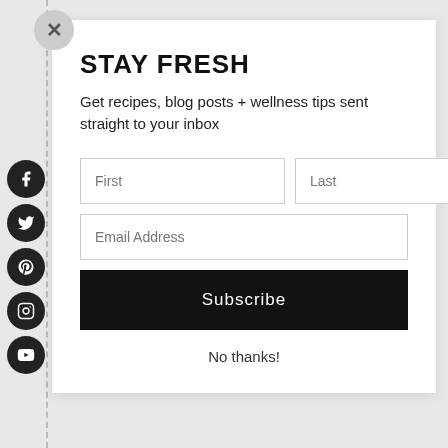[Figure (infographic): Social media icon buttons (Facebook, Twitter, Pinterest, Instagram, YouTube) as circular black icons on left sidebar]
STAY FRESH
Get recipes, blog posts + wellness tips sent straight to your inbox
[Figure (screenshot): Email subscription form with First name, Last name, Email Address input fields, a Subscribe button, and a No thanks link]
No thanks!